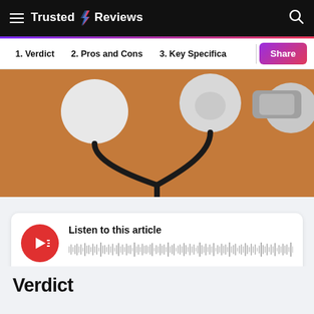Trusted Reviews
1. Verdict
2. Pros and Cons
3. Key Specifica
[Figure (photo): Close-up photo of in-ear earphones with black cables on an orange/brown background]
Listen to this article
Verdict